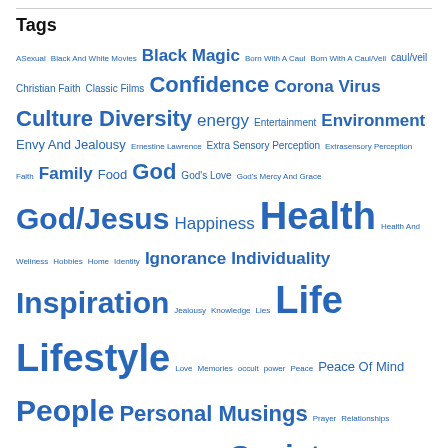Tags
ASexual Black And White Movies Black Magic Born With A Caul Born With A Caul/Veil caul/veil Christian Faith Classic Films Confidence Corona Virus Culture Diversity energy Entertainment Environment Envy And Jealousy Ernestine Lawrence Extra Sensory Perception Extrasensory Perception Faith Family Food God God's Love God's Mercy And Grace God/Jesus Happiness Health Health And Wellness Hobbies Home Identity Ignorance Individuality Inspiration Jealousy Knowledge Lies Life Lifestyle Love Memories occult power Peace Peace Of Mind People Personal Musings Prayer Relationships Relationship With God Salvation Second-Sight Sex Society Spiritual Communication Spiritual